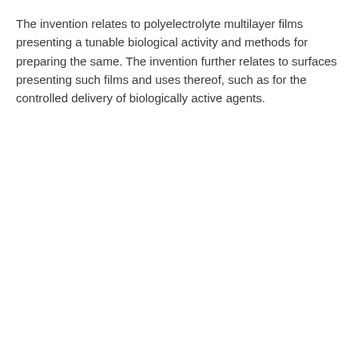The invention relates to polyelectrolyte multilayer films presenting a tunable biological activity and methods for preparing the same. The invention further relates to surfaces presenting such films and uses thereof, such as for the controlled delivery of biologically active agents.